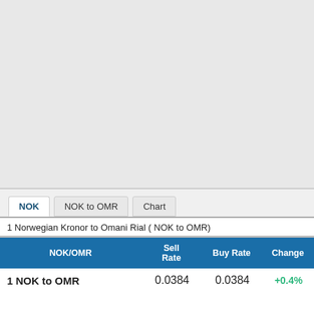NOK | NOK to OMR | Chart
1 Norwegian Kronor to Omani Rial ( NOK to OMR)
| NOK/OMR | Sell Rate | Buy Rate | Change |
| --- | --- | --- | --- |
| 1 NOK to OMR | 0.0384 | 0.0384 | +0.4% |